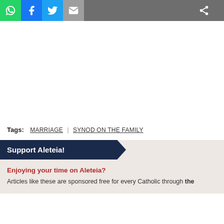[Figure (other): Social media sharing bar with WhatsApp (green), Facebook (blue), Twitter (cyan), Email (grey) buttons, and a share icon on dark grey background]
Tags: MARRIAGE | SYNOD ON THE FAMILY
Support Aleteia!
Enjoying your time on Aleteia?
Articles like these are sponsored free for every Catholic through the